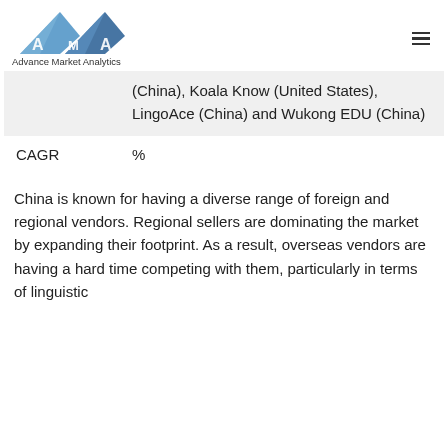[Figure (logo): Advance Market Analytics logo with blue triangular mountain shapes and text]
|  | (China), Koala Know (United States), LingoAce (China) and Wukong EDU (China) |
| CAGR | % |
China is known for having a diverse range of foreign and regional vendors. Regional sellers are dominating the market by expanding their footprint. As a result, overseas vendors are having a hard time competing with them, particularly in terms of linguistic